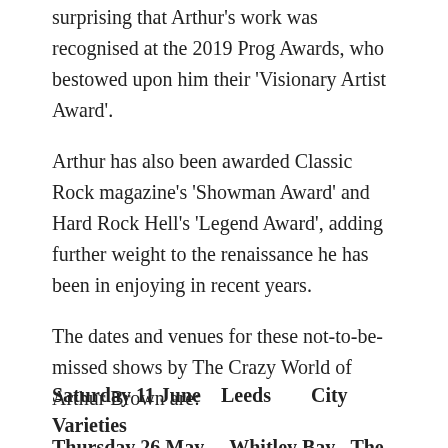surprising that Arthur's work was recognised at the 2019 Prog Awards, who bestowed upon him their 'Visionary Artist Award'.
Arthur has also been awarded Classic Rock magazine's 'Showman Award' and Hard Rock Hell's 'Legend Award', adding further weight to the renaissance he has been in enjoying in recent years.
The dates and venues for these not-to-be-missed shows by The Crazy World of Arthur Brown are:
Thursday 26 May    Whitley Bay    The Playhouse
Friday 27 May    Sale    Waterside
Saturday 11 June    Leeds    City Varieties